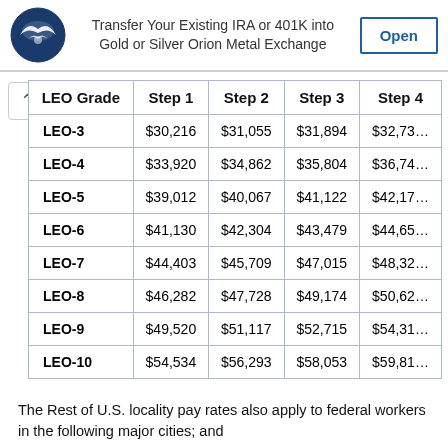[Figure (other): Orion Metal Exchange advertisement banner with logo, text 'Transfer Your Existing IRA or 401K into Gold or Silver Orion Metal Exchange' and an 'Open' button]
| LEO Grade | Step 1 | Step 2 | Step 3 | Step 4 |
| --- | --- | --- | --- | --- |
| LEO-3 | $30,216 | $31,055 | $31,894 | $32,73… |
| LEO-4 | $33,920 | $34,862 | $35,804 | $36,74… |
| LEO-5 | $39,012 | $40,067 | $41,122 | $42,17… |
| LEO-6 | $41,130 | $42,304 | $43,479 | $44,65… |
| LEO-7 | $44,403 | $45,709 | $47,015 | $48,32… |
| LEO-8 | $46,282 | $47,728 | $49,174 | $50,62… |
| LEO-9 | $49,520 | $51,117 | $52,715 | $54,31… |
| LEO-10 | $54,534 | $56,293 | $58,053 | $59,81… |
The Rest of U.S. locality pay rates also apply to federal workers in the following major cities; and